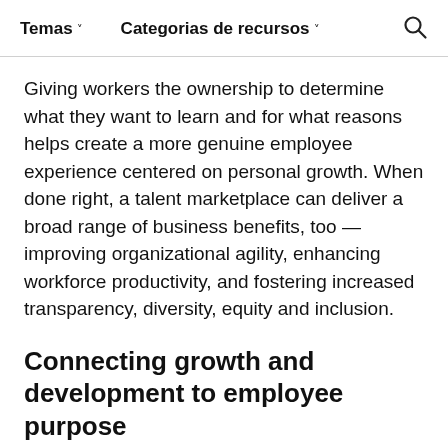Temas ˅   Categorias de recursos ˅   🔍
Giving workers the ownership to determine what they want to learn and for what reasons helps create a more genuine employee experience centered on personal growth. When done right, a talent marketplace can deliver a broad range of business benefits, too — improving organizational agility, enhancing workforce productivity, and fostering increased transparency, diversity, equity and inclusion.
Connecting growth and development to employee purpose
Creating a growth environment that emphasizes